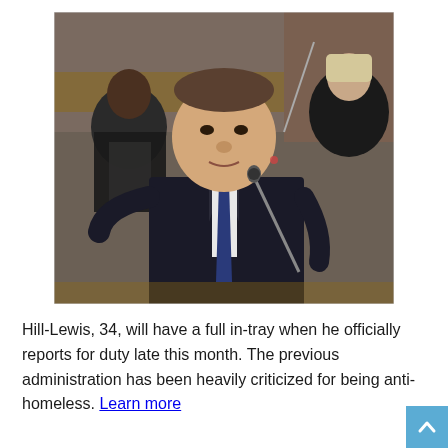[Figure (photo): A heavyset man in a dark suit and blue tie speaking at a microphone in what appears to be a parliamentary chamber. Other people are visible in the background.]
Hill-Lewis, 34, will have a full in-tray when he officially reports for duty late this month. The previous administration has been heavily criticized for being anti-homeless. Learn more